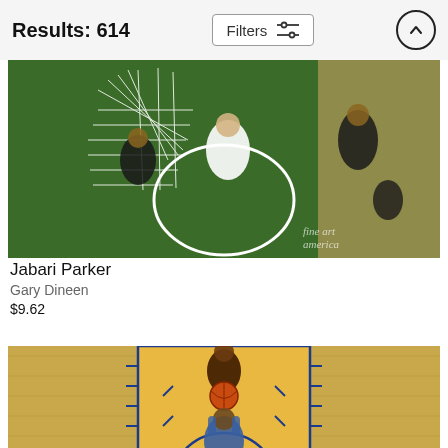Results: 614
Filters
[Figure (photo): Aerial/overhead view of a basketball game showing players around the net/hoop area on a green court, with a fine art america watermark]
Jabari Parker
Gary Dineen
$9.62
[Figure (photo): Aerial/overhead view of a basketball game showing players on a yellow/gold colored court with blue lines, with one player holding a basketball]